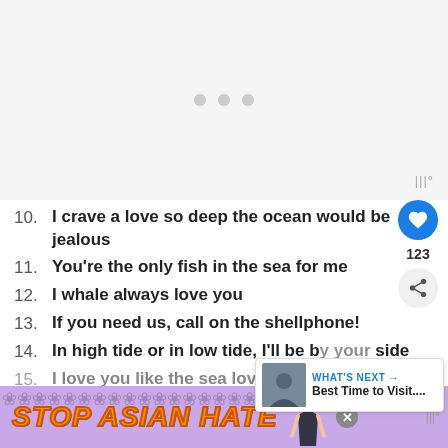[Figure (other): Gray loading/placeholder area with three gray dots in the center and a tally-mark style icon in the bottom right corner]
10. I crave a love so deep the ocean would be jealous
11. You're the only fish in the sea for me
12. I whale always love you
13. If you need us, call on the shellphone!
14. In high tide or in low tide, I'll be by your side
15. I love you like the sea loves the shore
[Figure (other): Advertisement banner with purple/lavender background, floral pattern, yellow-orange bold italic text reading STOP ASIAN HATE, cartoon figure of a person, close button X, and tally mark icon]